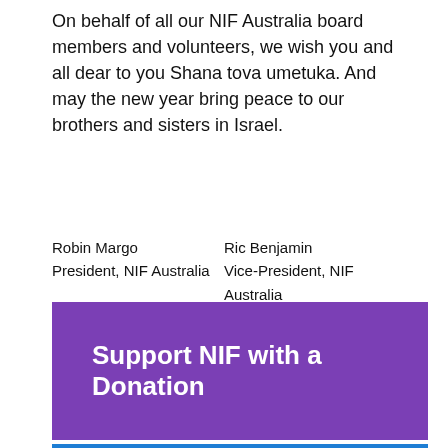On behalf of all our NIF Australia board members and volunteers, we wish you and all dear to you Shana tova umetuka. And may the new year bring peace to our brothers and sisters in Israel.
Robin Margo
President, NIF Australia

Ric Benjamin
Vice-President, NIF Australia
[Figure (other): Purple button/banner reading 'Support NIF with a Donation' in bold white text on purple background]
[Figure (other): Blue button/banner reading 'Join Our Growing Community' in bold white text on blue background]
[Figure (photo): Partial photo visible at bottom of page showing people]